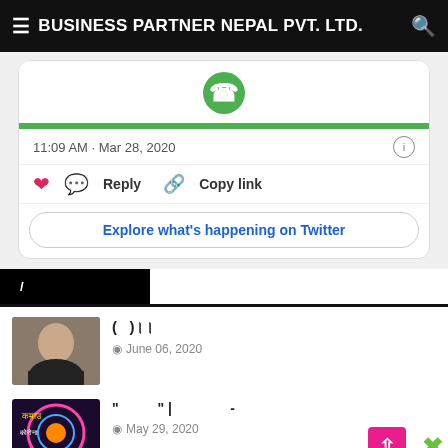≡ BUSINESS PARTNER NEPAL PVT. LTD. 🔍
[Figure (screenshot): Partial tweet card showing green WhatsApp-style logo, green bar, timestamp '11:09 AM · Mar 28, 2020', heart/reply/copy link actions, and 'Explore what's happening on Twitter' button]
11:09 AM · Mar 28, 2020
Reply   Copy link
Explore what's happening on Twitter
/
[Figure (photo): Profile photo of a man in dark jacket]
(  )।।
June 06, 2020
[Figure (photo): Colorful decorative image with Nepali text]
"          " |                 -
May 29, 2020